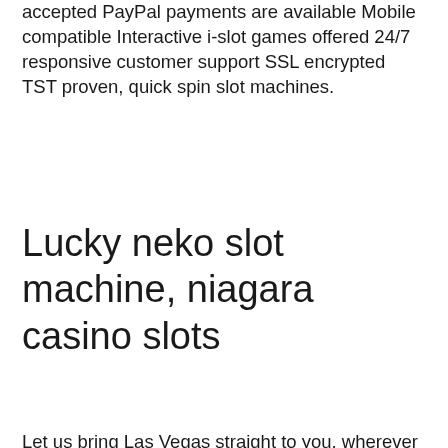accepted PayPal payments are available Mobile compatible Interactive i-slot games offered 24/7 responsive customer support SSL encrypted TST proven, quick spin slot machines.
Lucky neko slot machine, niagara casino slots
Let us bring Las Vegas straight to you, wherever you are, and join in on the slot machine fun now, big ass slot machine girl nsfw. You can play free slot games in our fun online casino, from your phone, tablet or computer. House of Fun free online casino brings you the best slot machines and top casino games, and all totally free! Traditionally fruit machines have a simplistic gameplay and belong to AWP category, big ass slot machine girl